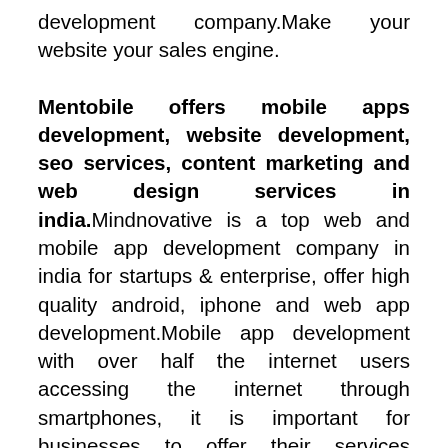development company.Make your website your sales engine.
Mentobile offers mobile apps development, website development, seo services, content marketing and web design services in india.Mindnovative is a top web and mobile app development company in india for startups & enterprise, offer high quality android, iphone and web app development.Mobile app development with over half the internet users accessing the internet through smartphones, it is important for businesses to offer their services through mobile apps.Mobile application development with capabilities across platforms (ios, android and microsoft), our mobile app